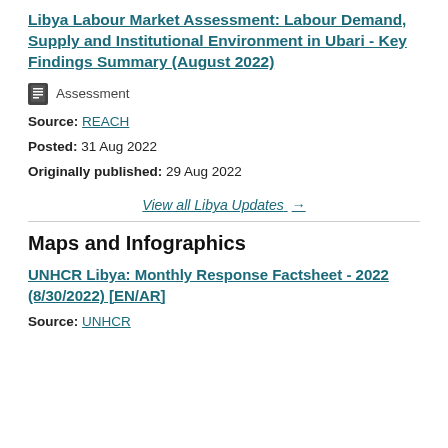Libya Labour Market Assessment: Labour Demand, Supply and Institutional Environment in Ubari - Key Findings Summary (August 2022)
Assessment
Source: REACH
Posted: 31 Aug 2022
Originally published: 29 Aug 2022
View all Libya Updates →
Maps and Infographics
UNHCR Libya: Monthly Response Factsheet - 2022 (8/30/2022) [EN/AR]
Source: UNHCR